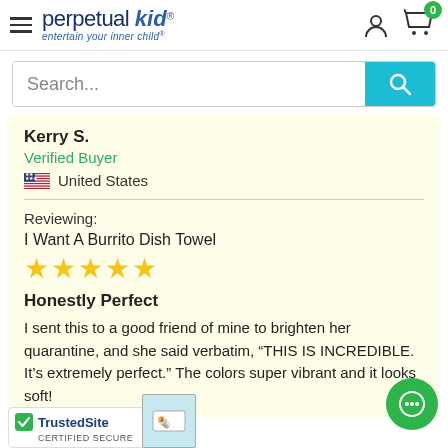[Figure (logo): Perpetual Kid logo with hamburger menu]
[Figure (screenshot): Search bar with teal search button]
Kerry S.
Verified Buyer
United States
Reviewing:
I Want A Burrito Dish Towel
[Figure (other): Five yellow stars rating]
Honestly Perfect
I sent this to a good friend of mine to brighten her quarantine, and she said verbatim, “THIS IS INCREDIBLE. It’s extremely perfect.” The colors super vibrant and it looks soft!
[Figure (logo): TrustedSite Certified Secure badge]
[Figure (other): Product thumbnail image]